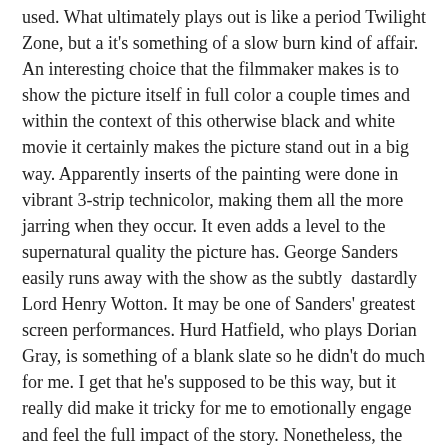used. What ultimately plays out is like a period Twilight Zone, but a it's something of a slow burn kind of affair. An interesting choice that the filmmaker makes is to show the picture itself in full color a couple times and within the context of this otherwise black and white movie it certainly makes the picture stand out in a big way. Apparently inserts of the painting were done in vibrant 3-strip technicolor, making them all the more jarring when they occur. It even adds a level to the supernatural quality the picture has. George Sanders easily runs away with the show as the subtly dastardly Lord Henry Wotton. It may be one of Sanders' greatest screen performances. Hurd Hatfield, who plays Dorian Gray, is something of a blank slate so he didn't do much for me. I get that he's supposed to be this way, but it really did make it tricky for me to emotionally engage and feel the full impact of the story. Nonetheless, the film is still quite haunting and memorable. The last color shot of the painting is still a bit disturbing and will stay with me for some time.
Special Features:
This disc has some nice supplements making it an nice package: -An Audio commentary with Angela Lansbury and film historian Steve Haberman. A nice mix of information from Haberman and